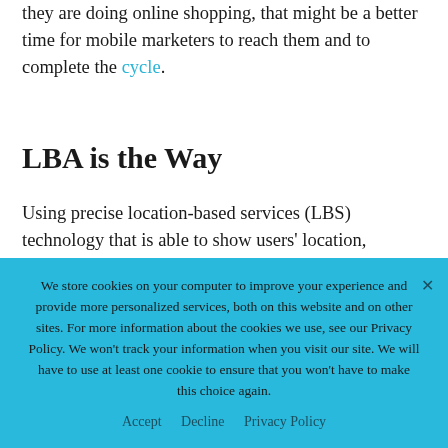they are doing online shopping, that might be a better time for mobile marketers to reach them and to complete the cycle.
LBA is the Way
Using precise location-based services (LBS) technology that is able to show users' location, whether they be indoor or outdoor, will facilitate faster, more accurate and more relevant advertising. This is because precise LBS
We store cookies on your computer to improve your experience and provide more personalized services, both on this website and on other sites. For more information about the cookies we use, see our Privacy Policy. We won't track your information when you visit our site. We will have to use at least one cookie to ensure that you won't have to make this choice again.
Accept   Decline   Privacy Policy